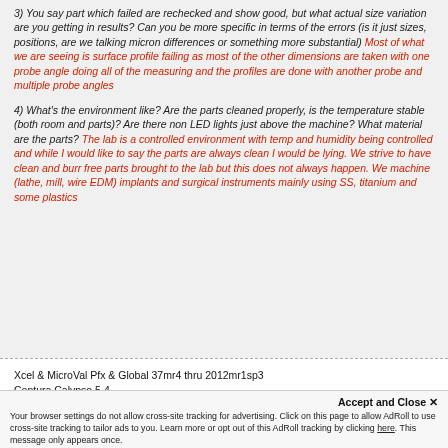3) You say part which failed are rechecked and show good, but what actual size variation are you getting in results? Can you be more specific in terms of the errors (is it just sizes, positions, are we talking micron differences or something more substantial) Most of what we are seeing is surface profile failing as most of the other dimensions are taken with one probe angle doing all of the measuring and the profiles are done with another probe and multiple probe angles
4) What's the environment like? Are the parts cleaned properly, is the temperature stable (both room and parts)? Are there non LED lights just above the machine? What material are the parts? The lab is a controlled environment with temp and humidity being controlled and while I would like to say the parts are always clean I would be lying. We strive to have clean and burr free parts brought to the lab but this does not always happen. We machine (lathe, mill, wire EDM) implants and surgical instruments mainly using SS, titanium and some plastics
Xcel & MicroVal Pfx & Global 37mr4 thru 2012mr1sp3
Contura Calypso 5.4
Lord, keep Your arm around my shoulder and Your hand over my mouth. Amen.
Accept and Close ✕
Your browser settings do not allow cross-site tracking for advertising. Click on this page to allow AdRoll to use cross-site tracking to tailor ads to you. Learn more or opt out of this AdRoll tracking by clicking here. This message only appears once.